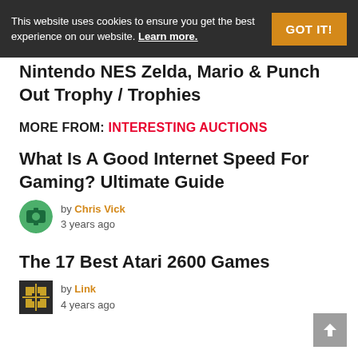This website uses cookies to ensure you get the best experience on our website. Learn more.
Nintendo NES Zelda, Mario & Punch Out Trophy / Trophies
MORE FROM: INTERESTING AUCTIONS
What Is A Good Internet Speed For Gaming? Ultimate Guide
by Chris Vick
3 years ago
The 17 Best Atari 2600 Games
by Link
4 years ago